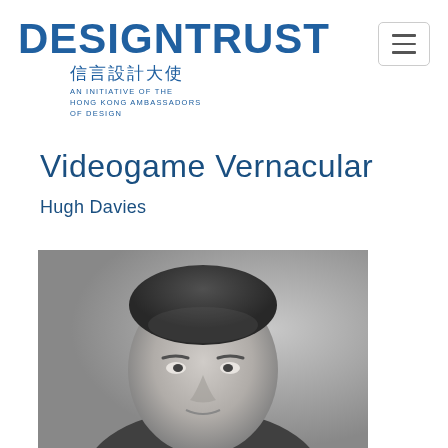DESIGN TRUST 信言設計大使 AN INITIATIVE OF THE HONG KONG AMBASSADORS OF DESIGN
Videogame Vernacular
Hugh Davies
[Figure (photo): Black and white portrait photo of Hugh Davies, a man with short hair looking slightly to one side]